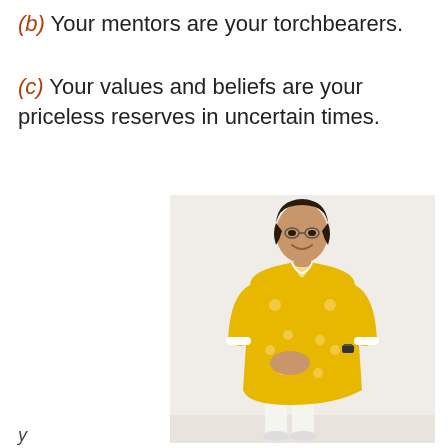(b) Your mentors are your torchbearers.
(c) Your values and beliefs are your priceless reserves in uncertain times.
[Figure (photo): A woman standing against a light wall, wearing a yellow patterned kurta and white pants, hands clasped in front, smiling slightly.]